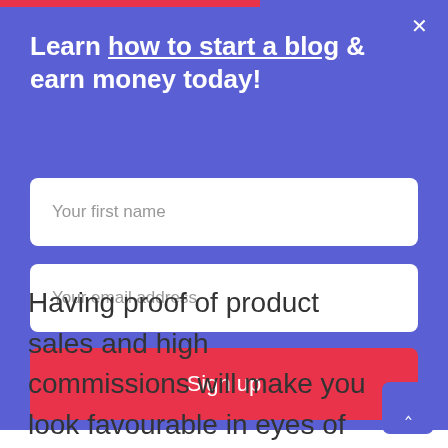[Figure (screenshot): A modal popup with blue background showing a newsletter signup form with title 'Learn how to start a blog & earn money today!', two input fields for first name and email, and a red Sign up button]
Learn how to start a blog & earn money today!
Your first name
Your email address
Sign up
Having proof of product sales and high commissions will make you look favourable in eyes of a buyer, and it will increase your overall revenue. So, your valuation will shoot way up.